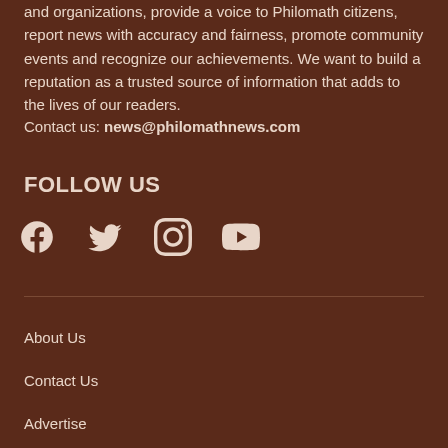and organizations, provide a voice to Philomath citizens, report news with accuracy and fairness, promote community events and recognize our achievements. We want to build a reputation as a trusted source of information that adds to the lives of our readers.
Contact us: news@philomathnews.com
FOLLOW US
[Figure (infographic): Social media icons: Facebook, Twitter, Instagram, YouTube]
About Us
Contact Us
Advertise
Memberships